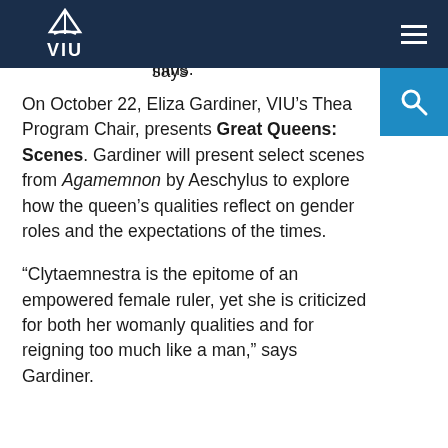VIU navigation bar with logo and hamburger menu
idea that such women were unproductive or inferior to their male counterparts,” says Griffiths.
On October 22, Eliza Gardiner, VIU’s Theatre Program Chair, presents Great Queens: Scenes. Gardiner will present select scenes from Agamemnon by Aeschylus to explore how the queen’s qualities reflect on gender roles and the expectations of the times.
“Clytaemnestra is the epitome of an empowered female ruler, yet she is criticized for both her womanly qualities and for reigning too much like a man,” says Gardiner.